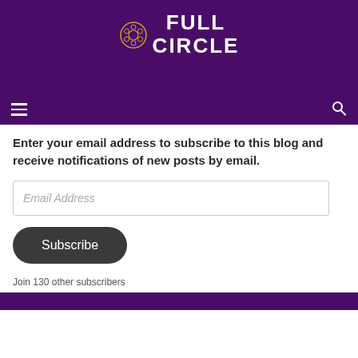[Figure (logo): Full Circle film reel logo with white bold text on purple background]
Enter your email address to subscribe to this blog and receive notifications of new posts by email.
Email Address
Subscribe
Join 130 other subscribers